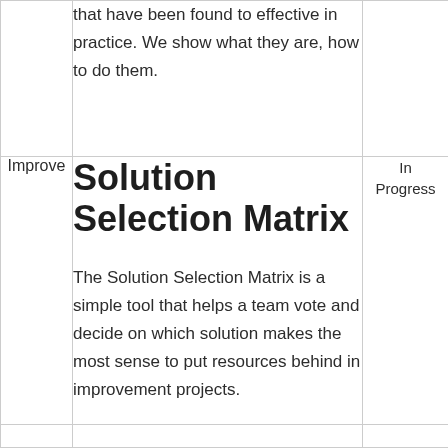that have been found to effective in practice. We show what they are, how to do them.
Solution Selection Matrix
Improve
The Solution Selection Matrix is a simple tool that helps a team vote and decide on which solution makes the most sense to put resources behind in improvement projects.
In Progress